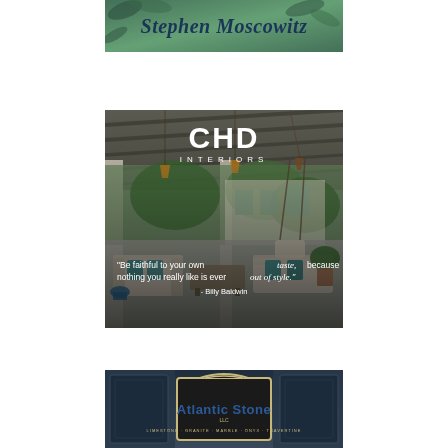[Figure (advertisement): Stephen Moscowitz advertisement with decorative green/teal botanical background and script-style text]
[Figure (advertisement): CHD Interiors advertisement showing an outdoor patio/porch with furniture, teal cushions, hanging lights, and a quote: 'Be faithful to your own taste, because nothing you really like is ever out of style.' - Billy Baldwin]
[Figure (advertisement): Atlantic Stone LLC advertisement with dark navy/teal background, showing a framed sign for Atlantic Stone with subtitle: Limestone · Granite · Marble · Onyx · Travertine]